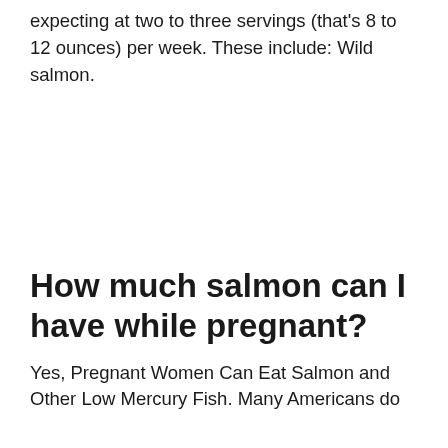expecting at two to three servings (that's 8 to 12 ounces) per week. These include: Wild salmon.
How much salmon can I have while pregnant?
Yes, Pregnant Women Can Eat Salmon and Other Low Mercury Fish. Many Americans do